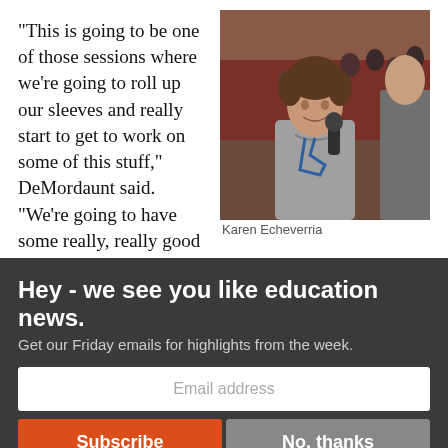“This is going to be one of those sessions where we’re going to roll up our sleeves and really start to get to work on some of this stuff,” DeMordaunt said. “We’re going to have some really, really good open, candid discussions
[Figure (photo): Woman in grey blazer being interviewed at a conference or legislative session, audience visible in background]
Karen Echeverria
Hey - we see you like education news.
Get our Friday emails for highlights from the week.
Email address
Subscribe
No, thanks